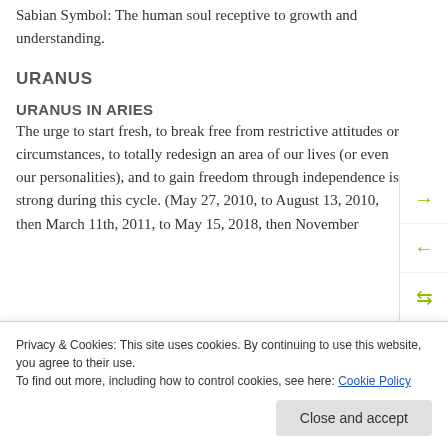Sabian Symbol: The human soul receptive to growth and understanding.
URANUS
URANUS IN ARIES
The urge to start fresh, to break free from restrictive attitudes or circumstances, to totally redesign an area of our lives (or even our personalities), and to gain freedom through independence is strong during this cycle. (May 27, 2010, to August 13, 2010, then March 11th, 2011, to May 15, 2018, then November
Privacy & Cookies: This site uses cookies. By continuing to use this website, you agree to their use. To find out more, including how to control cookies, see here: Cookie Policy
Sabian Symbol: A double promise reveals its inner